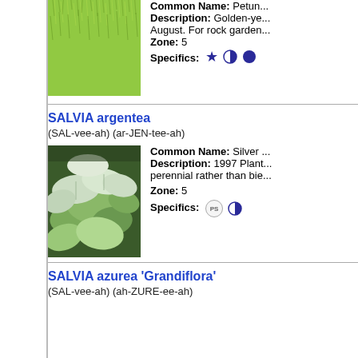[Figure (photo): Close-up photo of golden-yellow grass or moss foliage (cropped, top portion of entry)]
Common Name: Petunia... Description: Golden-yellow... August. For rock garden... Zone: 5 Specifics: ★ half-circle full-circle
SALVIA argentea
(SAL-vee-ah) (ar-JEN-tee-ah)
[Figure (photo): Photo of Salvia argentea plant with large silvery-green leaves]
Common Name: Silver... Description: 1997 Plant... perennial rather than bie... Zone: 5 Specifics: PS half-circle
SALVIA azurea 'Grandiflora'
(SAL-vee-ah) (ah-ZURE-ee-ah)